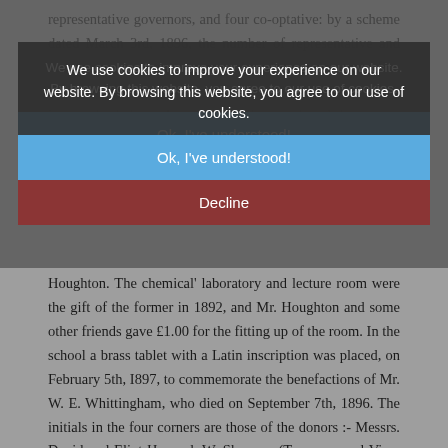representative governors, and four co-optative: by a scheme dated March 3rd, 1896, the number of representative and co-optative governors was altered to six and five respectively. The governors of the school showed much interest in their work, and it may be mentioned that a very large share of the success of the institution was due to the unfailing interest of Mr. W. E. Whittingham, and the clerk to the governors, Mr. W.
We use cookies to improve your experience on our website. By browsing this website, you agree to our use of cookies.
Ok, I've understood!
Decline
Houghton. The chemical' laboratory and lecture room were the gift of the former in 1892, and Mr. Houghton and some other friends gave £1.00 for the fitting up of the room. In the school a brass tablet with a Latin inscription was placed, on February 5th, I897, to commemorate the benefactions of Mr. W. E. Whittingham, who died on September 7th, 1896. The initials in the four corners are those of the donors :- Messrs. David and Eliot Howard, W. Shurmur (Treasurer and Vice- Chairman), and the Rev. H. A. Allpass.
! The school continued its excellent work till' 1903 under